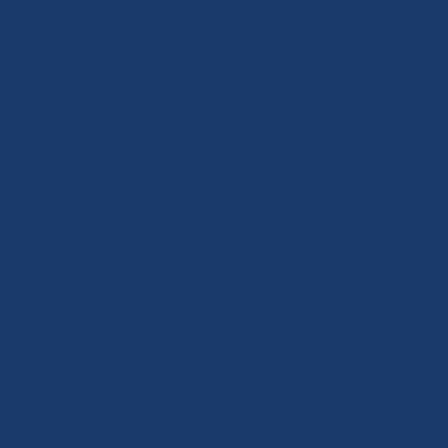ed on the relentless indoctrination by the schools and